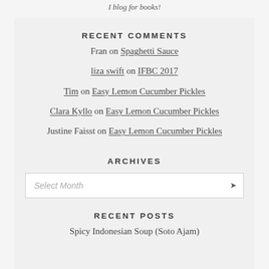I blog for books!
RECENT COMMENTS
Fran on Spaghetti Sauce
liza swift on IFBC 2017
Tim on Easy Lemon Cucumber Pickles
Clara Kyllo on Easy Lemon Cucumber Pickles
Justine Faisst on Easy Lemon Cucumber Pickles
ARCHIVES
Select Month
RECENT POSTS
Spicy Indonesian Soup (Soto Ajam)